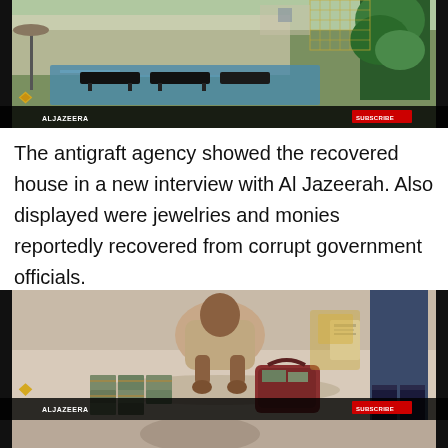[Figure (screenshot): Al Jazeera video screenshot showing a luxury pool and garden area with lounge chairs, with the Al Jazeera logo and SUBSCRIBE button overlaid at the bottom.]
The antigraft agency showed the recovered house in a new interview with Al Jazeerah. Also displayed were jewelries and monies reportedly recovered from corrupt government officials.
[Figure (screenshot): Al Jazeera video screenshot showing a person crouching over bundles of cash on a floor, with a bag and a standing person visible, with the Al Jazeera logo and SUBSCRIBE button overlaid at the bottom.]
[Figure (screenshot): Al Jazeera video screenshot showing partial view of another scene, partially cut off at the bottom of the page.]